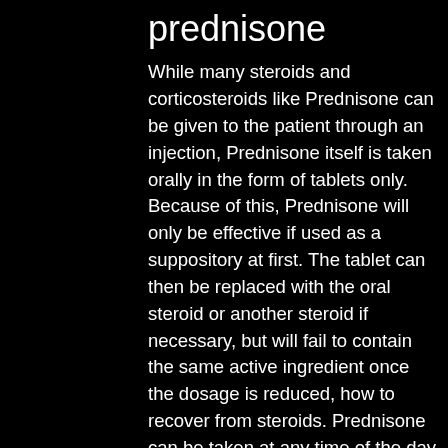prednisone
While many steroids and corticosteroids like Prednisone can be given to the patient through an injection, Prednisone itself is taken orally in the form of tablets only. Because of this, Prednisone will only be effective if used as a suppository at first. The tablet can then be replaced with the oral steroid or another steroid if necessary, but will fail to contain the same active ingredient once the dosage is reduced, how to recover from steroids. Prednisone can be taken at any time of the day or night. It will remain effective as long as it is taken at the proper time of day and in the right dose combination, how to relax on prednisone.
Prednisone is usually a long-term treatment for patients. It is recommended a patient can tolerate the pain to be able to continue with the treatment. If given early and the pain is